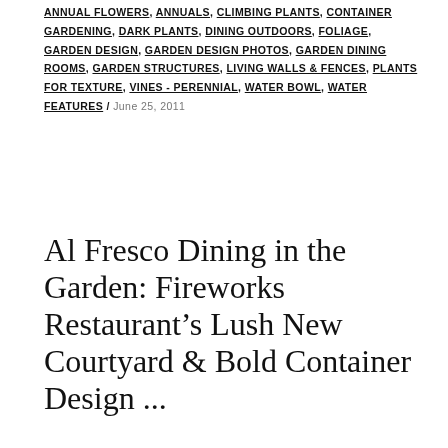ANNUAL FLOWERS, ANNUALS, CLIMBING PLANTS, CONTAINER GARDENING, DARK PLANTS, DINING OUTDOORS, FOLIAGE, GARDEN DESIGN, GARDEN DESIGN PHOTOS, GARDEN DINING ROOMS, GARDEN STRUCTURES, LIVING WALLS & FENCES, PLANTS FOR TEXTURE, VINES - PERENNIAL, WATER BOWL, WATER FEATURES / June 25, 2011
Al Fresco Dining in the Garden: Fireworks Restaurant's Lush New Courtyard & Bold Container Design ...
My Tiered Container Garden Design and Installation at Fireworks Restaurant in Brattleboro, Vermont Wrapped up a busy work week in the pouring rain yesterday with finishing touches on my garden design and installation for Fireworks Restaurant in Brattleboro, Vermont. This lush, outdoor dining space will soon feature a stone water bowl